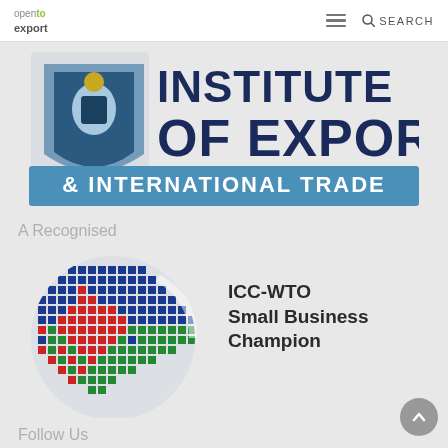open to export | SEARCH
[Figure (logo): Institute of Export & International Trade logo with crest and blue banner]
A Recognised
[Figure (logo): ICC-WTO Small Business Champion globe logo made of coloured squares]
ICC-WTO Small Business Champion
Follow Us